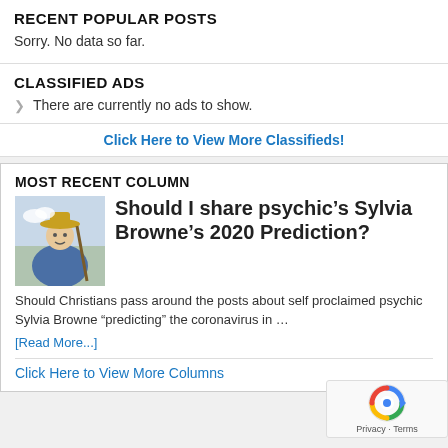RECENT POPULAR POSTS
Sorry. No data so far.
CLASSIFIED ADS
There are currently no ads to show.
Click Here to View More Classifieds!
MOST RECENT COLUMN
Should I share psychic’s Sylvia Browne’s 2020 Prediction?
Should Christians pass around the posts about self proclaimed psychic Sylvia Browne “predicting” the coronavirus in …
[Read More...]
Click Here to View More Columns